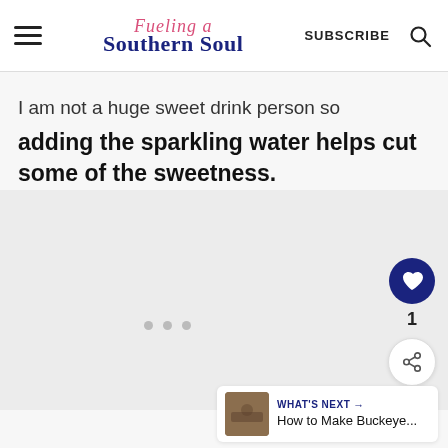Fueling a Southern Soul | SUBSCRIBE
I am not a huge sweet drink person so adding the sparkling water helps cut some of the sweetness.
[Figure (other): Gray placeholder image area in the lower half of the page]
1
WHAT'S NEXT → How to Make Buckeye...